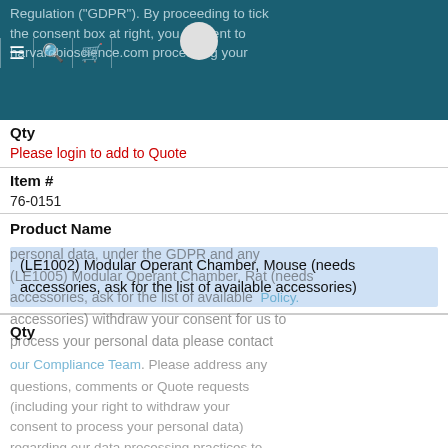Regulation ("GDPR"). By proceeding to tick the consent box at right, you consent to harvardbioscience.com processing your
personal data, under the GDPR and any (LE1005) Modular Operant Chamber, Rat (needs accessories, ask for the list of available accessories) withdraw your consent for us to process your personal data please contact
Qty
our Compliance Team. Please address any
Please login to add to Quote
questions, comments or Quote requests (including your right to withdraw your
Item #
consent to process your personal data)
76-0151
regarding our data processing practices to our Compliance Team.
Product Name
(LE1002) Modular Operant Chamber, Mouse (needs accessories, ask for the list of available accessories)
Qty